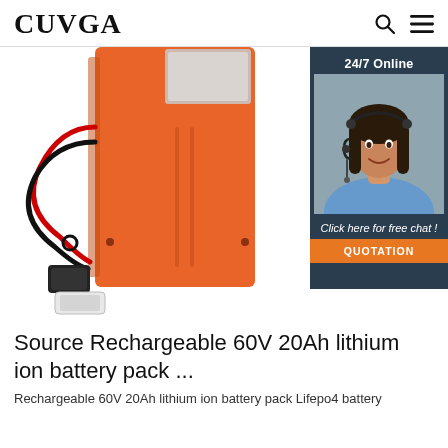CUVGA
[Figure (photo): Orange rectangular 60V 20Ah lithium ion battery pack with wires and connectors, shown on a white background. A 24/7 Online chat widget with a female customer service agent wearing a headset is overlaid on the right side, with 'Click here for free chat!' and a 'QUOTATION' button.]
Source Rechargeable 60V 20Ah lithium ion battery pack ...
Rechargeable 60V 20Ah lithium ion battery pack Lifepo4 battery